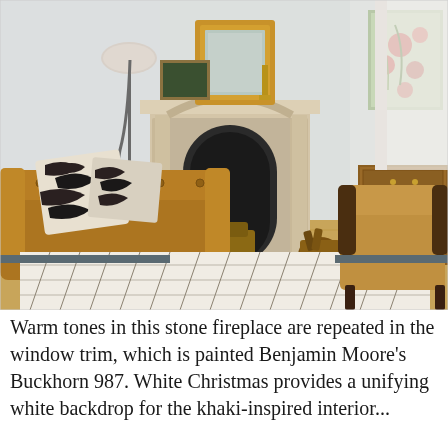[Figure (photo): Interior living room scene with a stone fireplace in the center, topped with a gold-framed mirror and small artworks. A leather Chesterfield sofa with zebra-print pillows is on the left. A dark wood armchair is on the right. A fluffy Moroccan-style rug covers the floor. A floor lamp with a dome shade is on the left. A wooden dresser and floral painting are visible on the right. White paneled walls and natural light from windows.]
Warm tones in this stone fireplace are repeated in the window trim, which is painted Benjamin Moore's Buckhorn 987. White Christmas provides a unifying white backdrop for the khaki-inspired interior...